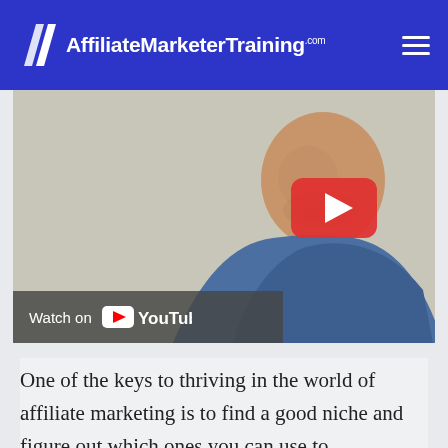AffiliateMarketerTraining.com
[Figure (screenshot): YouTube video thumbnail showing a man in a blue t-shirt with a YouTube play button overlay and 'Watch on YouTube' bar at the bottom]
One of the keys to thriving in the world of affiliate marketing is to find a good niche and figure out which ones you can use to